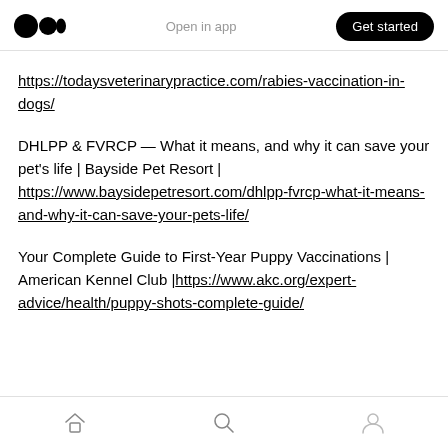Open in app | Get started
https://todaysveterinarypractice.com/rabies-vaccination-in-dogs/
DHLPP & FVRCP — What it means, and why it can save your pet's life | Bayside Pet Resort | https://www.baysidepetresort.com/dhlpp-fvrcp-what-it-means-and-why-it-can-save-your-pets-life/
Your Complete Guide to First-Year Puppy Vaccinations | American Kennel Club |https://www.akc.org/expert-advice/health/puppy-shots-complete-guide/
Home | Search | Profile